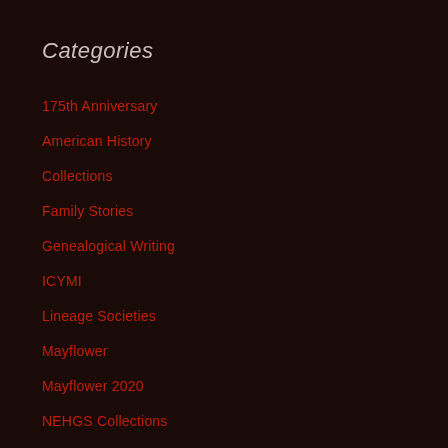Categories
175th Anniversary
American History
Collections
Family Stories
Genealogical Writing
ICYMI
Lineage Societies
Mayflower
Mayflower 2020
NEHGS Collections
News
Research Methods